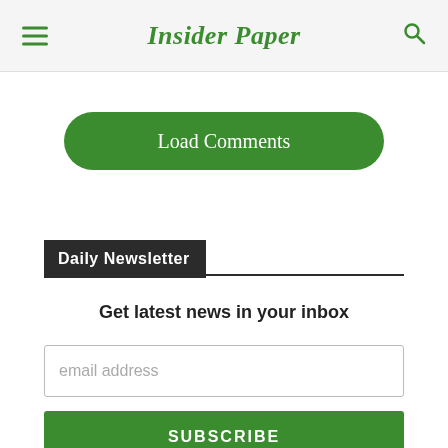Insider Paper
Load Comments
Daily Newsletter
Get latest news in your inbox
email address
SUBSCRIBE